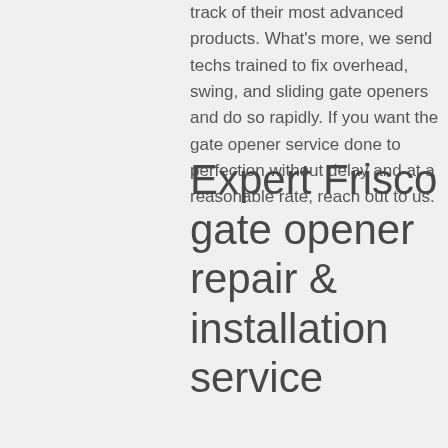track of their most advanced products. What's more, we send techs trained to fix overhead, swing, and sliding gate openers and do so rapidly. If you want the gate opener service done to perfection without delay and at a reasonable rate, reach out to us.
Expert Frisco gate opener repair & installation service